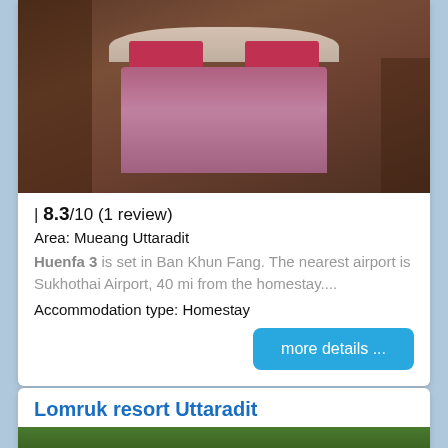[Figure (photo): Hotel bedroom photo showing a double bed with pink/mauve bedding and red pillows, wooden paneled walls, shelving unit on left, desk on right]
| 8.3/10 (1 review)
Area: Mueang Uttaradit
Huenfa 3 is set in Ban Khun Fang. The nearest airport is Sukhothai Airport, 40 mi from the homestay....
Accommodation type: Homestay
more details ...
Lomruk resort Uttaradit
[Figure (photo): Exterior photo of Lomruk resort Uttaradit showing roof and greenery]